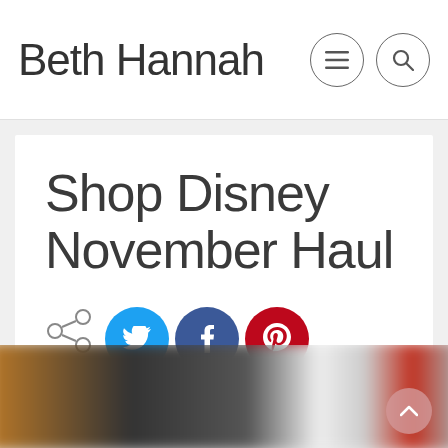Beth Hannah
Shop Disney November Haul
Share
23rd November 2018
[Figure (photo): Blurred background photo of Disney merchandise items on a surface, dark and warm toned]